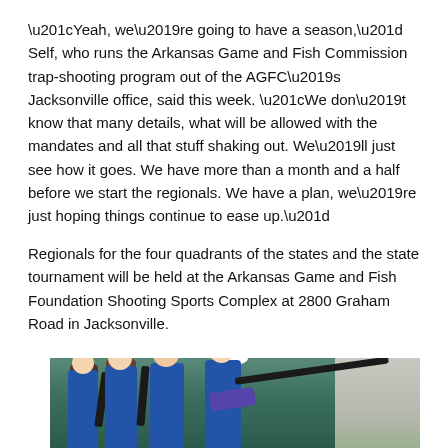“Yeah, we’re going to have a season,” Self, who runs the Arkansas Game and Fish Commission trap-shooting program out of the AGFC’s Jacksonville office, said this week. “We don’t know that many details, what will be allowed with the mandates and all that stuff shaking out. We’ll just see how it goes. We have more than a month and a half before we start the regionals. We have a plan, we’re just hoping things continue to ease up.”
Regionals for the four quadrants of the states and the state tournament will be held at the Arkansas Game and Fish Foundation Shooting Sports Complex at 2800 Graham Road in Jacksonville.
[Figure (photo): Photo of several young women in blue shirts holding rifles at a shooting sports event, with a green backdrop and open field visible on the right.]